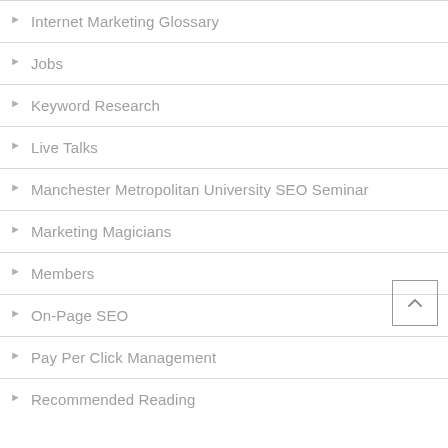Internet Marketing Glossary
Jobs
Keyword Research
Live Talks
Manchester Metropolitan University SEO Seminar
Marketing Magicians
Members
On-Page SEO
Pay Per Click Management
Recommended Reading